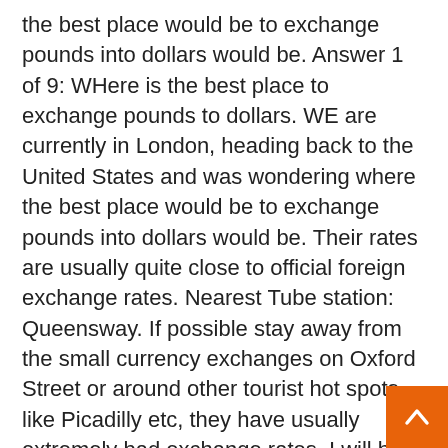the best place would be to exchange pounds into dollars would be. Answer 1 of 9: WHere is the best place to exchange pounds to dollars. WE are currently in London, heading back to the United States and was wondering where the best place would be to exchange pounds into dollars would be. Their rates are usually quite close to official foreign exchange rates. Nearest Tube station: Queensway. If possible stay away from the small currency exchanges on Oxford Street or around other tourist hot spots like Picadilly etc, they have usually extremely bad exchange rates. I will be traveling to the UK (staying in London) in the next few months. I was wondering where the best place is to exchange dollars to pounds? Also, any advice on using my bank card (if it's a good idea or not) would be greatly appreciated! I know there might be fees that my bank would charge so I Automated teller machines are common in London. You can use your debit card or a credit card to withdraw cash in pounds from any ATM simply by using your PIN. When you do so, the bank will automatically calculate the exchange rate debit that amount, in U.S. dollars, from your account.